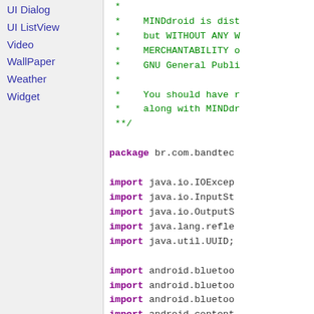UI Dialog
UI ListView
Video
WallPaper
Weather
Widget
* 
 * MINDdroid is dist
 * but WITHOUT ANY W
 * MERCHANTABILITY o
 * GNU General Publi
 *
 * You should have r
 * along with MINDdr
**/

package br.com.bandtec

import java.io.IOExcep
import java.io.InputSt
import java.io.OutputS
import java.lang.refle
import java.util.UUID;

import android.bluetoo
import android.bluetoo
import android.bluetoo
import android.content
import android.os.Bund
import android.os.Hand
import android...